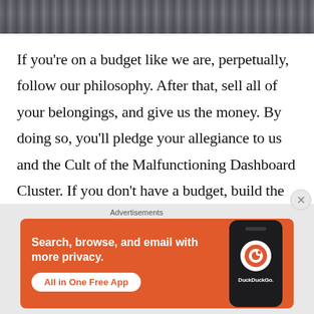[Figure (photo): Partial photo strip at top showing metallic/silver objects and orange elements]
If you're on a budget like we are, perpetually, follow our philosophy. After that, sell all of your belongings, and give us the money. By doing so, you'll pledge your allegiance to us and the Cult of the Malfunctioning Dashboard Cluster. If you don't have a budget, build the car with all brand new, lightweight, parts and use your imagination for boring things like how much money is in your hedge fund instead of ingenuitive
Advertisements
[Figure (screenshot): DuckDuckGo advertisement banner with orange background. Text reads: Search, browse, and email with more privacy. All in One Free App. Shows DuckDuckGo logo on a phone mockup.]